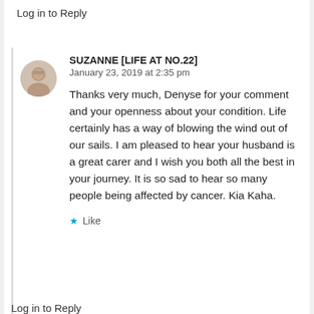Log in to Reply
SUZANNE [LIFE AT NO.22]
January 23, 2019 at 2:35 pm
Thanks very much, Denyse for your comment and your openness about your condition. Life certainly has a way of blowing the wind out of our sails. I am pleased to hear your husband is a great carer and I wish you both all the best in your journey. It is so sad to hear so many people being affected by cancer. Kia Kaha.
★ Like
Log in to Reply